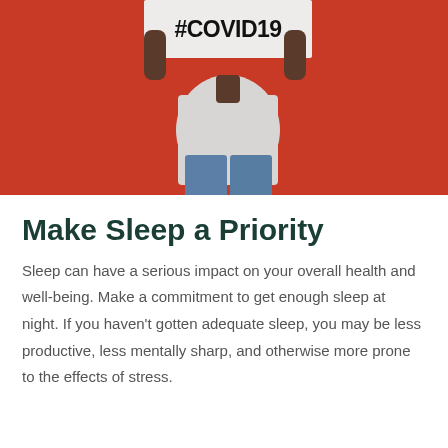[Figure (photo): Person standing against a red/orange background, holding a white sign above their head with '#COVID19' written in bold black text. The person is wearing a white t-shirt and blue jeans.]
Make Sleep a Priority
Sleep can have a serious impact on your overall health and well-being. Make a commitment to get enough sleep at night. If you haven't gotten adequate sleep, you may be less productive, less mentally sharp, and otherwise more prone to the effects of stress.